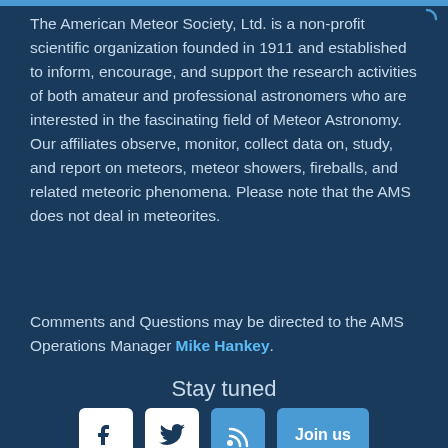The American Meteor Society, Ltd. is a non-profit scientific organization founded in 1911 and established to inform, encourage, and support the research activities of both amateur and professional astronomers who are interested in the fascinating field of Meteor Astronomy. Our affiliates observe, monitor, collect data on, study, and report on meteors, meteor showers, fireballs, and related meteoric phenomena. Please note that the AMS does not deal in meteorites.
Comments and Questions may be directed to the AMS Operations Manager Mike Hankey.
Stay tuned
[Figure (infographic): Social media icons row: Facebook icon, Twitter icon, RSS feed icon, and a Join us button]